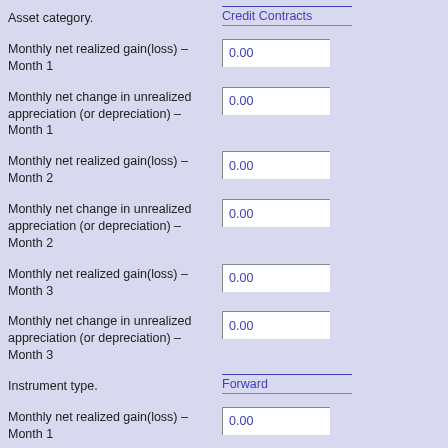Asset category.
Credit Contracts
Monthly net realized gain(loss) – Month 1
0.00
Monthly net change in unrealized appreciation (or depreciation) – Month 1
0.00
Monthly net realized gain(loss) – Month 2
0.00
Monthly net change in unrealized appreciation (or depreciation) – Month 2
0.00
Monthly net realized gain(loss) – Month 3
0.00
Monthly net change in unrealized appreciation (or depreciation) – Month 3
0.00
Instrument type.
Forward
Monthly net realized gain(loss) – Month 1
0.00
Monthly net change in unrealized appreciation (or depreciation) – Month 1
0.00